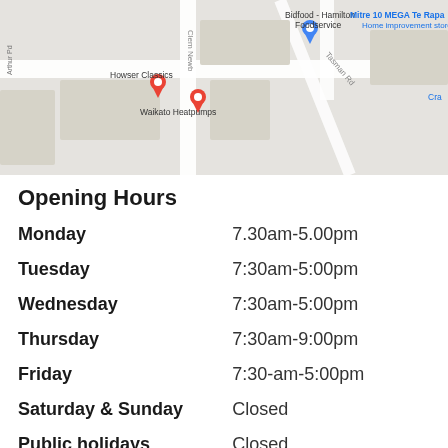[Figure (map): Google Maps screenshot showing local area around Waikato Heatpumps, with nearby businesses including Howser Classics, Bidfood Hamilton Foodservice, and Mitre 10 MEGA Te Rapa.]
Opening Hours
| Day | Hours |
| --- | --- |
| Monday | 7.30am-5.00pm |
| Tuesday | 7:30am-5:00pm |
| Wednesday | 7:30am-5:00pm |
| Thursday | 7:30am-9:00pm |
| Friday | 7:30-am-5:00pm |
| Saturday & Sunday | Closed |
| Public holidays | Closed |